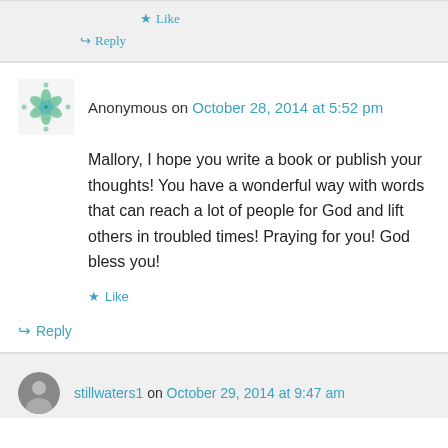★ Like
↪ Reply
Anonymous on October 28, 2014 at 5:52 pm
Mallory, I hope you write a book or publish your thoughts! You have a wonderful way with words that can reach a lot of people for God and lift others in troubled times! Praying for you! God bless you!
★ Like
↪ Reply
stillwaters1 on October 29, 2014 at 9:47 am